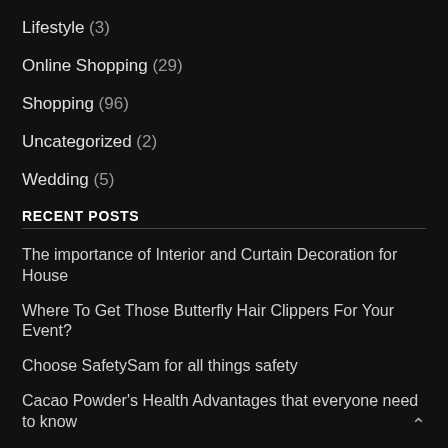Lifestyle (3)
Online Shopping (29)
Shopping (96)
Uncategorized (2)
Wedding (5)
RECENT POSTS
The importance of Interior and Curtain Decoration for House
Where To Get Those Butterfly Hair Clippers For Your Event?
Choose SafetySam for all things safety
Cacao Powder's Health Advantages that everyone need to know
Enjoy The Cooking Easiness with Microwave Oven Singapore